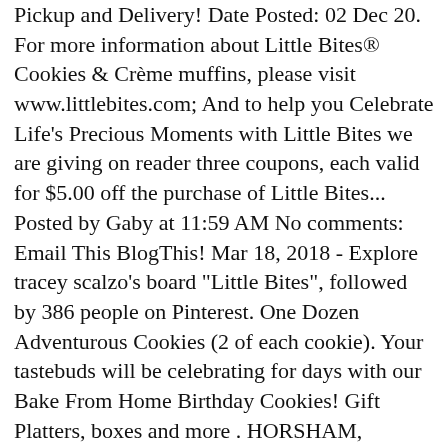Pickup and Delivery! Date Posted: 02 Dec 20. For more information about Little Bites® Cookies & Crème muffins, please visit www.littlebites.com; And to help you Celebrate Life's Precious Moments with Little Bites we are giving on reader three coupons, each valid for $5.00 off the purchase of Little Bites... Posted by Gaby at 11:59 AM No comments: Email This BlogThis! Mar 18, 2018 - Explore tracey scalzo's board "Little Bites", followed by 386 people on Pinterest. One Dozen Adventurous Cookies (2 of each cookie). Your tastebuds will be celebrating for days with our Bake From Home Birthday Cookies! Gift Platters, boxes and more . HORSHAM, Pennsylvania (WPVI) -- Bimbo Bakeries USA is voluntarily recalling Entenmann's Little Bites Soft Baked Cookies (5 pack Mini Chocolate Chip variety) due to the potential presence of plastic. When he was